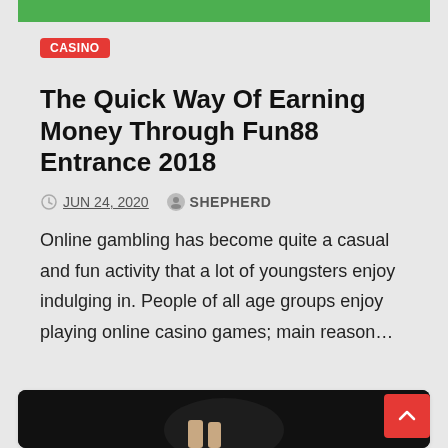[Figure (photo): Green decorative banner at top of article card]
CASINO
The Quick Way Of Earning Money Through Fun88 Entrance 2018
JUN 24, 2020   SHEPHERD
Online gambling has become quite a casual and fun activity that a lot of youngsters enjoy indulging in. People of all age groups enjoy playing online casino games; main reason…
[Figure (photo): Partial image of a person in a dark suit at bottom of page]